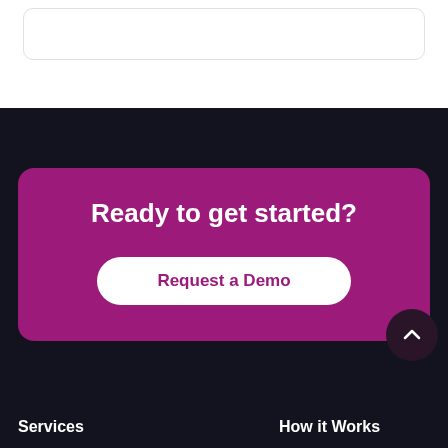[Figure (screenshot): Top white section with a rounded card/panel visible at the top of the page]
Ready to get started?
Request a Demo
Services
How it Works